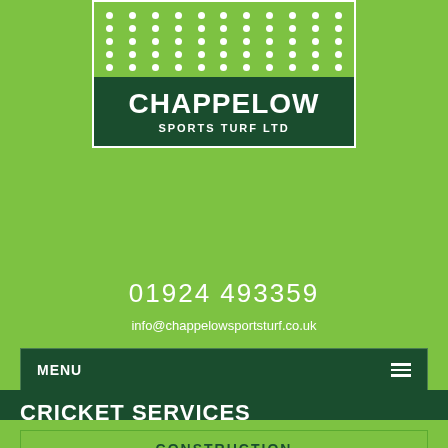[Figure (logo): Chappelow Sports Turf Ltd logo: white dots grid on green background above dark green rectangle with white bold text 'CHAPPELOW SPORTS TURF LTD']
01924 493359
info@chappelowsportsturf.co.uk
MENU
CRICKET SERVICES
CONSTRUCTION
DRAINAGE